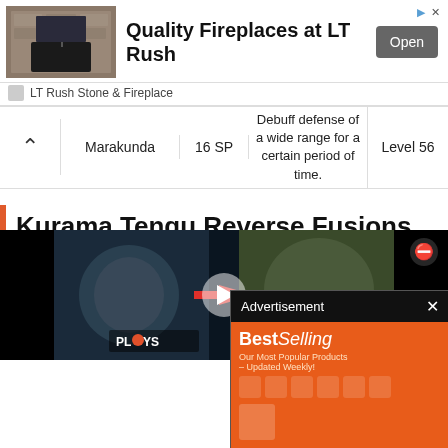[Figure (screenshot): Advertisement banner for LT Rush Stone & Fireplace showing fireplace image, text 'Quality Fireplaces at LT Rush', and an Open button]
|  | Marakunda | 16 SP | Debuff defense of a wide range for a certain period of time. | Level 56 |
| --- | --- | --- | --- | --- |
Kurama Tengu Reverse Fusions
| Price | Ingredient 1 Names | Ingredient 1 Level | Ingredient 2 Nam... |
| --- | --- | --- | --- |
| 44000 Yen | Jack-o'-Lantern, Jack Frost, Queen Mab | 43 | Mithr... Ganes... |
[Figure (screenshot): Advertisement overlay showing 'BestSelling' text on orange background with AliExpress branding and Shop Now button]
[Figure (screenshot): Video overlay at bottom showing game footage with play button and PLAYS logo]